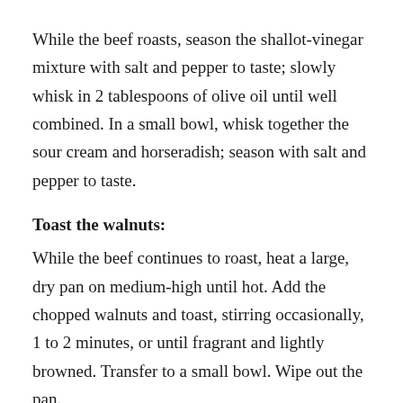While the beef roasts, season the shallot-vinegar mixture with salt and pepper to taste; slowly whisk in 2 tablespoons of olive oil until well combined. In a small bowl, whisk together the sour cream and horseradish; season with salt and pepper to taste.
Toast the walnuts:
While the beef continues to roast, heat a large, dry pan on medium-high until hot. Add the chopped walnuts and toast, stirring occasionally, 1 to 2 minutes, or until fragrant and lightly browned. Transfer to a small bowl. Wipe out the pan.